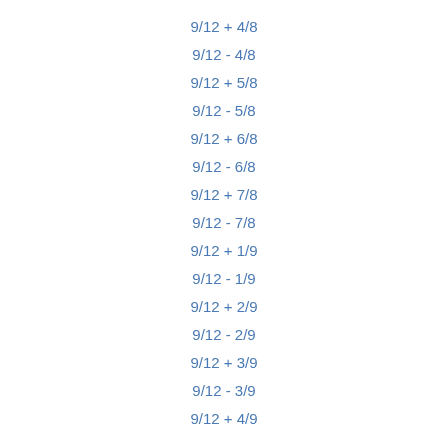9/12 + 4/8
9/12 - 4/8
9/12 + 5/8
9/12 - 5/8
9/12 + 6/8
9/12 - 6/8
9/12 + 7/8
9/12 - 7/8
9/12 + 1/9
9/12 - 1/9
9/12 + 2/9
9/12 - 2/9
9/12 + 3/9
9/12 - 3/9
9/12 + 4/9